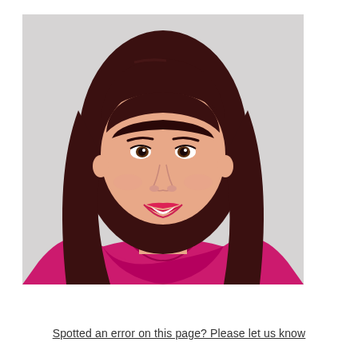[Figure (photo): Professional headshot of a woman with dark brown hair with a fringe/bangs, smiling, wearing a bright pink/magenta top, against a light grey background.]
Spotted an error on this page? Please let us know